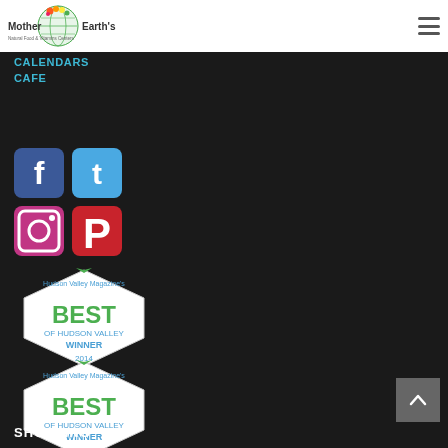[Figure (logo): Mother Earth's Natural Food & Vitamins Centers logo with colorful globe]
CALENDARS
CAFE
[Figure (infographic): Social media icons: Facebook, Twitter, Instagram, Pinterest]
[Figure (infographic): Hudson Valley Magazine's Best of Hudson Valley Winner 2014 badge]
[Figure (infographic): Hudson Valley Magazine's Best of Hudson Valley Winner 2015 badge]
SHOPPING